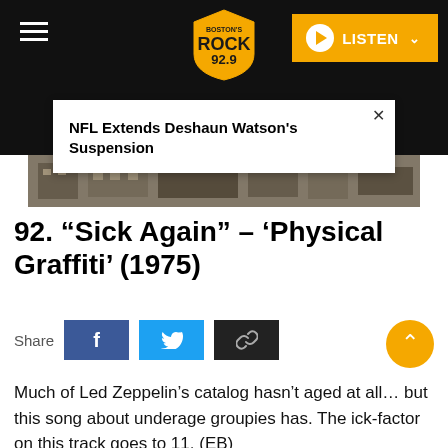[Figure (screenshot): Black header bar with hamburger menu icon on left, Rock 92.9 radio station logo in center, and yellow LISTEN button on right]
NFL Extends Deshaun Watson's Suspension
[Figure (photo): Advertisement banner with building/architecture photo]
92. “Sick Again” – ‘Physical Graffiti’ (1975)
Share
Much of Led Zeppelin’s catalog hasn’t aged at all… but this song about underage groupies has. The ick-factor on this track goes to 11. (EB)